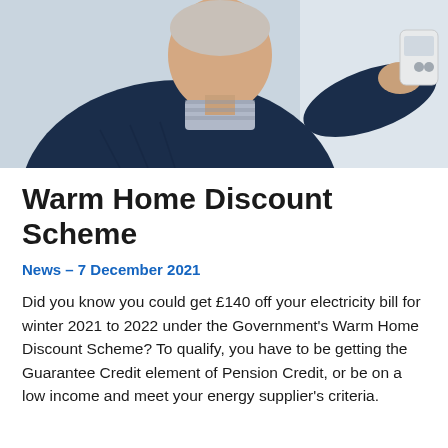[Figure (photo): Elderly man in a dark navy sweater pointing at a wall-mounted thermostat or control panel]
Warm Home Discount Scheme
News – 7 December 2021
Did you know you could get £140 off your electricity bill for winter 2021 to 2022 under the Government's Warm Home Discount Scheme? To qualify, you have to be getting the Guarantee Credit element of Pension Credit, or be on a low income and meet your energy supplier's criteria.